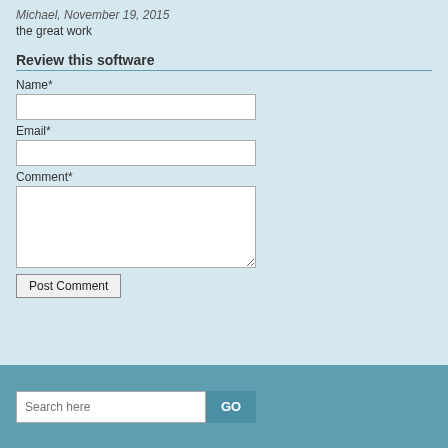Michael, November 19, 2015
the great work
Review this software
Name*
Email*
Comment*
Post Comment
Search here
GO